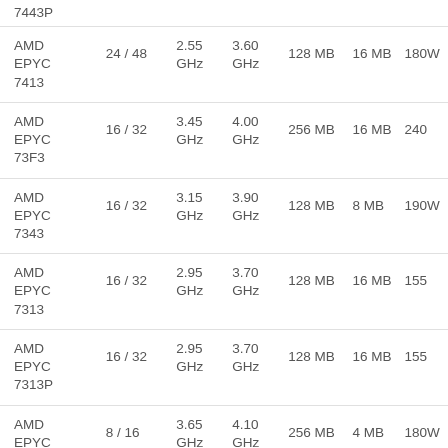| CPU | Cores/Threads | Base | Boost | L3 | L2 | TDP |
| --- | --- | --- | --- | --- | --- | --- |
| AMD EPYC 7443P (partial) |  |  |  |  |  |  |
| AMD EPYC 7413 | 24 / 48 | 2.55 GHz | 3.60 GHz | 128 MB | 16 MB | 180W |
| AMD EPYC 73F3 | 16 / 32 | 3.45 GHz | 4.00 GHz | 256 MB | 16 MB | 240W |
| AMD EPYC 7343 | 16 / 32 | 3.15 GHz | 3.90 GHz | 128 MB | 8 MB | 190W |
| AMD EPYC 7313 | 16 / 32 | 2.95 GHz | 3.70 GHz | 128 MB | 16 MB | 155W |
| AMD EPYC 7313P | 16 / 32 | 2.95 GHz | 3.70 GHz | 128 MB | 16 MB | 155W |
| AMD EPYC 72F3 | 8 / 16 | 3.65 GHz | 4.10 GHz | 256 MB | 4 MB | 180W |